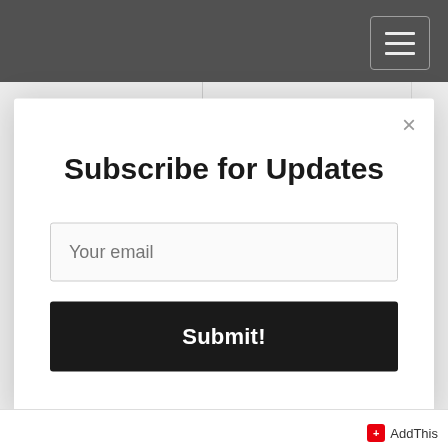(navigation bar with hamburger menu)
(and that's all it is) means absolutely NOTHING. It means that you are a chicken shit who can talk smack like there's no
Subscribe for Updates
Your email
Submit!
AddThis